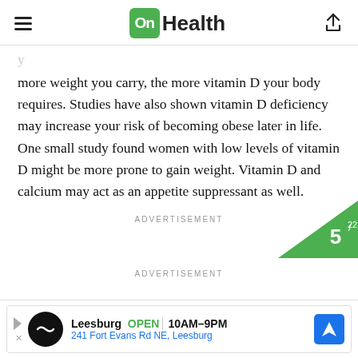OnHealth
more weight you carry, the more vitamin D your body requires. Studies have also shown vitamin D deficiency may increase your risk of becoming obese later in life. One small study found women with low levels of vitamin D might be more prone to gain weight. Vitamin D and calcium may act as an appetite suppressant as well.
ADVERTISEMENT
[Figure (other): Slide badge showing 5/22 in a green triangle at bottom right]
ADVERTISEMENT
[Figure (other): Advertisement banner for Leesburg store with OPEN 10AM-9PM at 241 Fort Evans Rd NE, Leesburg]